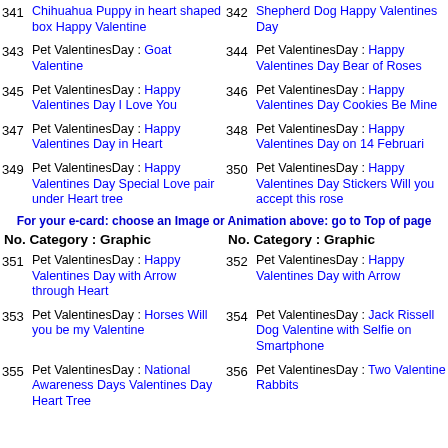341 Chihuahua Puppy in heart shaped box Happy Valentine
342 Shepherd Dog Happy Valentines Day
343 Pet ValentinesDay : Goat Valentine
344 Pet ValentinesDay : Happy Valentines Day Bear of Roses
345 Pet ValentinesDay : Happy Valentines Day I Love You
346 Pet ValentinesDay : Happy Valentines Day Cookies Be Mine
347 Pet ValentinesDay : Happy Valentines Day in Heart
348 Pet ValentinesDay : Happy Valentines Day on 14 Februari
349 Pet ValentinesDay : Happy Valentines Day Special Love pair under Heart tree
350 Pet ValentinesDay : Happy Valentines Day Stickers Will you accept this rose
For your e-card: choose an Image or Animation above: go to Top of page
No. Category : Graphic
No. Category : Graphic
351 Pet ValentinesDay : Happy Valentines Day with Arrow through Heart
352 Pet ValentinesDay : Happy Valentines Day with Arrow
353 Pet ValentinesDay : Horses Will you be my Valentine
354 Pet ValentinesDay : Jack Rissell Dog Valentine with Selfie on Smartphone
355 Pet ValentinesDay : National Awareness Days Valentines Day Heart Tree
356 Pet ValentinesDay : Two Valentine Rabbits